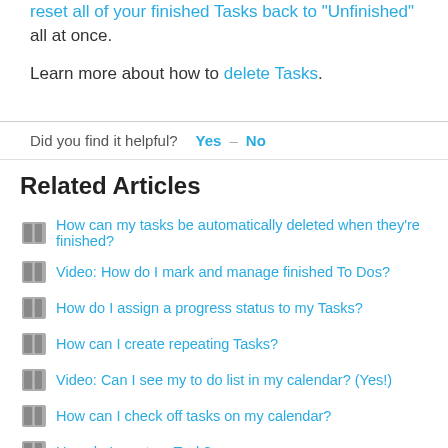reset all of your finished Tasks back to "Unfinished" all at once.
Learn more about how to delete Tasks.
Did you find it helpful? Yes – No
Related Articles
How can my tasks be automatically deleted when they're finished?
Video: How do I mark and manage finished To Dos?
How do I assign a progress status to my Tasks?
How can I create repeating Tasks?
Video: Can I see my to do list in my calendar? (Yes!)
How can I check off tasks on my calendar?
How do I create a Task?
How do I change the look of my status and priority labels?